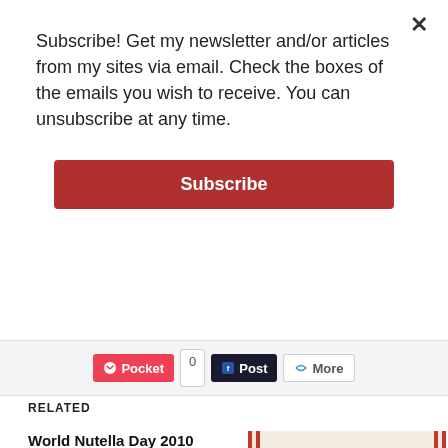Subscribe! Get my newsletter and/or articles from my sites via email. Check the boxes of the emails you wish to receive. You can unsubscribe at any time.
Subscribe
[Figure (screenshot): Social sharing buttons: Pocket (with count 0), Post, More]
RELATED
World Nutella Day 2010 Round-up, Part 1
Be sure to check Bleeding Espresso for Part 2 of the World Nutella Day 2010 Round-up! We're already considering what a 5th year
February 8, 2010
In "Blog Event"
[Figure (photo): World Nutella Day logo/image: a jar of Nutella on top of a globe, with text 'world nutella day' in red and brown]
World Nutella Day 2011 Roundup Part 1
February 7, 2011
In "Blog Event"